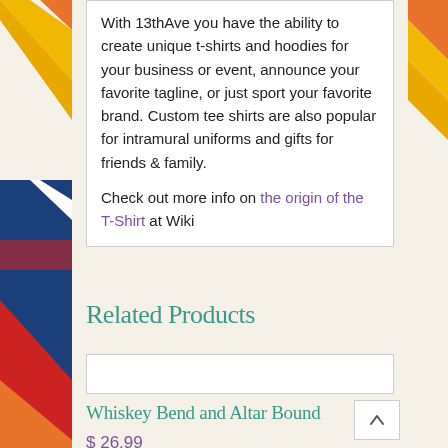With 13thAve you have the ability to create unique t-shirts and hoodies for your business or event, announce your favorite tagline, or just sport your favorite brand. Custom tee shirts are also popular for intramural uniforms and gifts for friends & family.
Check out more info on the origin of the T-Shirt at Wiki
Related Products
[Figure (other): Empty product image placeholder box]
Whiskey Bend and Altar Bound
$ 26.99